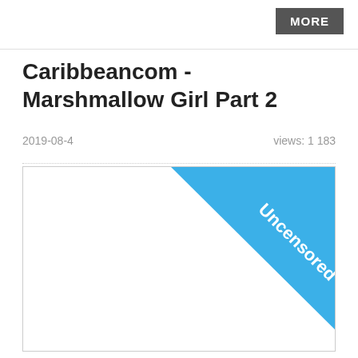MORE
Caribbeancom - Marshmallow Girl Part 2
2019-08-4    views: 1 183
[Figure (photo): Thumbnail image area with an 'Uncensored' blue ribbon/banner in the top-right corner]